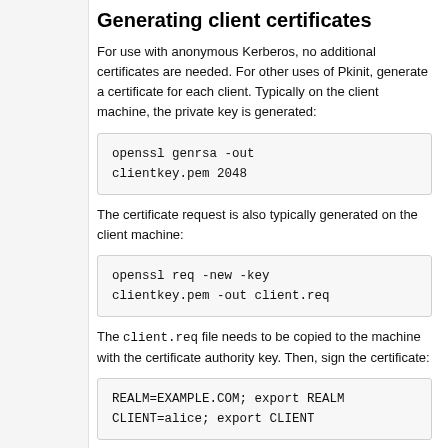Generating client certificates
For use with anonymous Kerberos, no additional certificates are needed. For other uses of Pkinit, generate a certificate for each client. Typically on the client machine, the private key is generated:
openssl genrsa -out clientkey.pem 2048
The certificate request is also typically generated on the client machine:
openssl req -new -key clientkey.pem -out client.req
The client.req file needs to be copied to the machine with the certificate authority key. Then, sign the certificate:
REALM=EXAMPLE.COM; export REALM
CLIENT=alice; export CLIENT